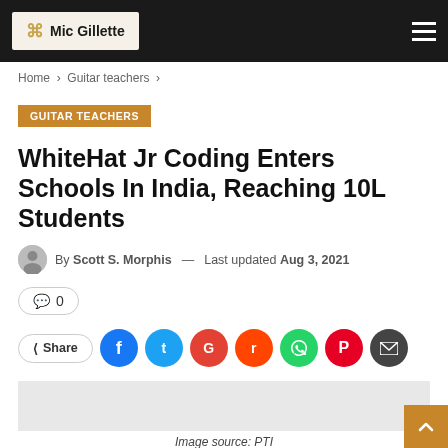Mic Gillette
Home > Guitar teachers >
GUITAR TEACHERS
WhiteHat Jr Coding Enters Schools In India, Reaching 10L Students
By Scott S. Morphis — Last updated Aug 3, 2021
0
Share
Image source: PTI